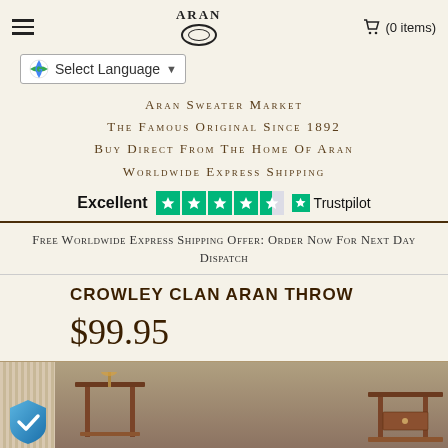ARAN (0 items)
Select Language
ARAN SWEATER MARKET
THE FAMOUS ORIGINAL SINCE 1892
BUY DIRECT FROM THE HOME OF ARAN
WORLDWIDE EXPRESS SHIPPING
[Figure (other): Trustpilot rating: Excellent with 4.5 stars and Trustpilot logo]
Free Worldwide Express Shipping Offer: Order Now For Next Day Dispatch
CROWLEY CLAN ARAN THROW
$99.95
[Figure (photo): Product lifestyle photo showing wooden furniture/side tables with lamp in background]